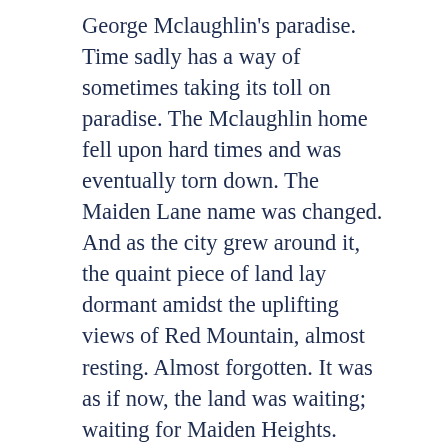George Mclaughlin's paradise. Time sadly has a way of sometimes taking its toll on paradise. The Mclaughlin home fell upon hard times and was eventually torn down. The Maiden Lane name was changed. And as the city grew around it, the quaint piece of land lay dormant amidst the uplifting views of Red Mountain, almost resting. Almost forgotten. It was as if now, the land was waiting; waiting for Maiden Heights.
With the same commitment to quality that was used in 1907, Maiden Heights is a blend of classic architecture and timeless craftsmanship. In the heart of the bustling Highland Park neighborhood, a new heartbeat pulsates. It is the heart beat of sublime beauty. It is the heartbeat of uncompromising quality. This is Maiden Heights. Just as the historic brownstones elegantly line the streets of New York and